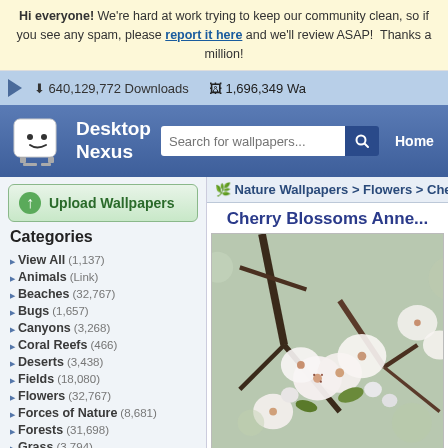Hi everyone! We're hard at work trying to keep our community clean, so if you see any spam, please report it here and we'll review ASAP! Thanks a million!
640,129,772 Downloads   1,696,349 Wa...
[Figure (screenshot): Desktop Nexus logo — white cartoon character with face on dark background]
Desktop Nexus
Search for wallpapers...
Home
Upload Wallpapers
Nature Wallpapers > Flowers > Cherry
Cherry Blossoms Anne...
Categories
View All (1,137)
Animals (Link)
Beaches (32,767)
Bugs (1,657)
Canyons (3,268)
Coral Reefs (466)
Deserts (3,438)
Fields (18,080)
Flowers (32,767)
Forces of Nature (8,681)
Forests (31,698)
Grass (3,794)
Greenroofs (318)
Lakes (32,767)
Mountains (32,767)
[Figure (photo): Cherry blossoms — white flowers on brown branches, close-up nature photo]